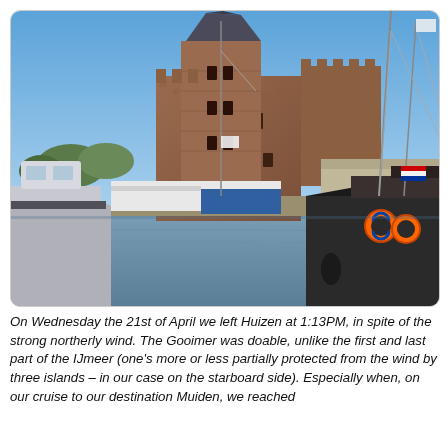[Figure (photo): Harbor scene with a large medieval brick castle/tower (Muiderslot) in the background, boats moored in the foreground including a yacht on the left and a dark-hulled sailing vessel with orange life rings on the right, blue sky above.]
On Wednesday the 21st of April we left Huizen at 1:13PM, in spite of the strong northerly wind. The Gooimer was doable, unlike the first and last part of the IJmeer (one's more or less partially protected from the wind by three islands – in our case on the starboard side). Especially when, on our cruise to our destination Muiden, we reached